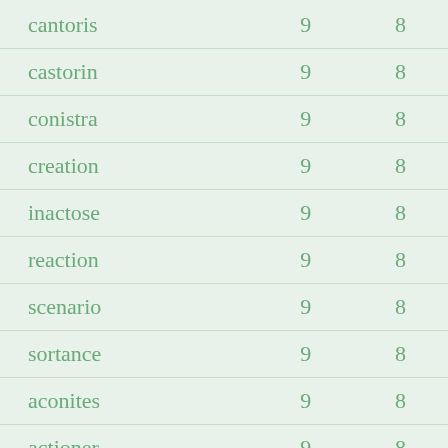| cantoris | 9 | 8 |
| castorin | 9 | 8 |
| conistra | 9 | 8 |
| creation | 9 | 8 |
| inactose | 9 | 8 |
| reaction | 9 | 8 |
| scenario | 9 | 8 |
| sortance | 9 | 8 |
| aconites | 9 | 8 |
| actioner | 9 | 8 |